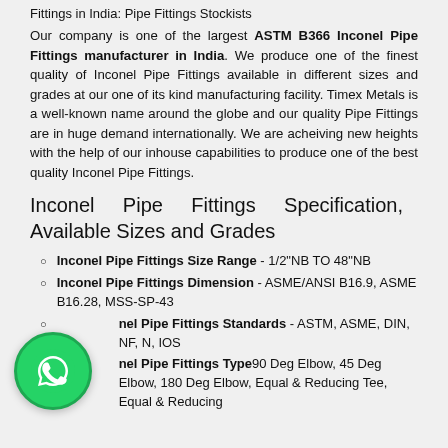Fittings in India: Pipe Fittings Stockists
Our company is one of the largest ASTM B366 Inconel Pipe Fittings manufacturer in India. We produce one of the finest quality of Inconel Pipe Fittings available in different sizes and grades at our one of its kind manufacturing facility. Timex Metals is a well-known name around the globe and our quality Pipe Fittings are in huge demand internationally. We are acheiving new heights with the help of our inhouse capabilities to produce one of the best quality Inconel Pipe Fittings.
Inconel Pipe Fittings Specification, Available Sizes and Grades
Inconel Pipe Fittings Size Range - 1/2"NB TO 48"NB
Inconel Pipe Fittings Dimension - ASME/ANSI B16.9, ASME B16.28, MSS-SP-43
Inconel Pipe Fittings Standards - ASTM, ASME, DIN, NF, EN, IOS
Inconel Pipe Fittings Type90 Deg Elbow, 45 Deg Elbow, 180 Deg Elbow, Equal & Reducing Tee, Equal & Reducing